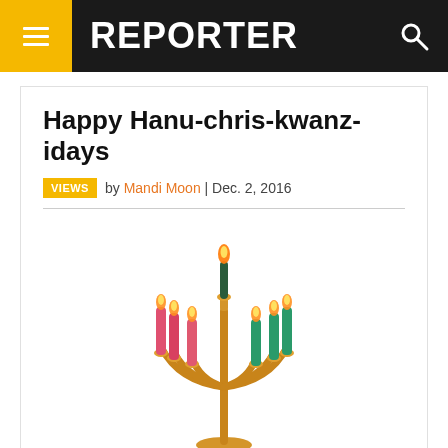REPORTER
Happy Hanu-chris-kwanz-idays
VIEWS by Mandi Moon | Dec. 2, 2016
[Figure (illustration): A colorful menorah (Hanukkiah) with nine branches, rendered in gold/brass tones. The candles alternate in colors: three pink/red on the left, one dark green taller center candle, three teal/green on the right, with orange-yellow flames flickering on top of each candle.]